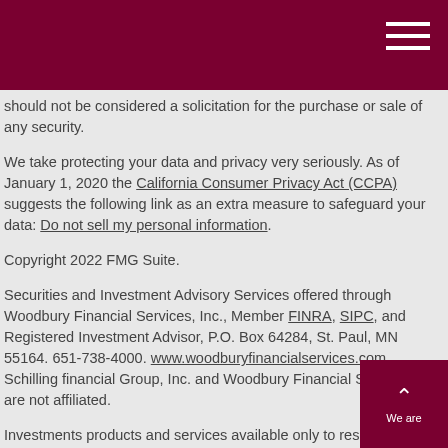should not be considered a solicitation for the purchase or sale of any security.
We take protecting your data and privacy very seriously. As of January 1, 2020 the California Consumer Privacy Act (CCPA) suggests the following link as an extra measure to safeguard your data: Do not sell my personal information.
Copyright 2022 FMG Suite.
Securities and Investment Advisory Services offered through Woodbury Financial Services, Inc., Member FINRA, SIPC, and Registered Investment Advisor, P.O. Box 64284, St. Paul, MN 55164. 651-738-4000. www.woodburyfinancialservices.com. Schilling financial Group, Inc. and Woodbury Financial Services, Inc. are not affiliated.
Investments products and services available only to residents of : Ohio (OH), Pennsylvania (PA) Fee-based advisory services are available only to residents of : Ohio (OH), Pennsylvania (PA) We are